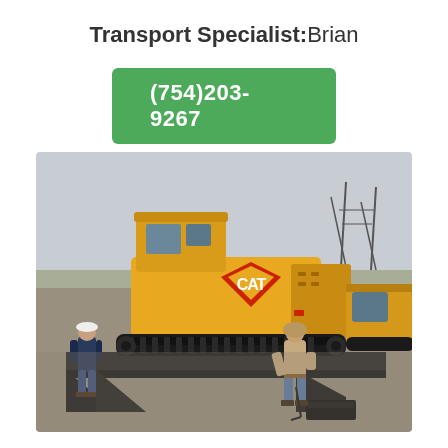Transport Specialist: Brian
(754)203-9267
[Figure (photo): A yellow CAT excavator loaded on a flatbed trailer in a gravel lot. Two workers are visible—one on the left wearing a hard hat and the other on the right working near the trailer ramps. A second yellow construction machine is visible on the right background. Power line towers are visible in the distance under an overcast sky.]